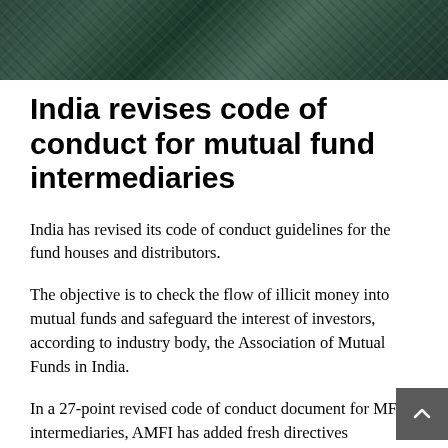[Figure (photo): Close-up photograph of circuit board or financial data grid with green and teal tones, viewed from an angle]
India revises code of conduct for mutual fund intermediaries
India has revised its code of conduct guidelines for the fund houses and distributors.
The objective is to check the flow of illicit money into mutual funds and safeguard the interest of investors, according to industry body, the Association of Mutual Funds in India.
In a 27-point revised code of conduct document for MF intermediaries, AMFI has added fresh directives